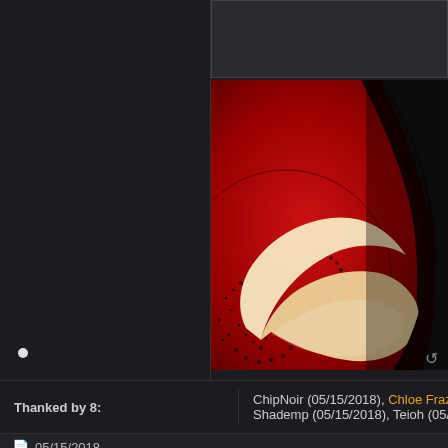[Figure (illustration): Partial dark gray forum post area on left, with a small partial image at top right and a large red anime-style illustration in right column showing a circular pattern with a glowing white crescent/ring and dark hair, all in red tones]
Thanked by 8:
ChipNoir (05/15/2018), Chloe Frazer (05/... Shademp (05/15/2018), Teioh (05/15/2018...
05/15/2018
ChipNoir
Epic Member
Internet Ghost
Join Date: Jan 2017
X-SOLDIER wrote: